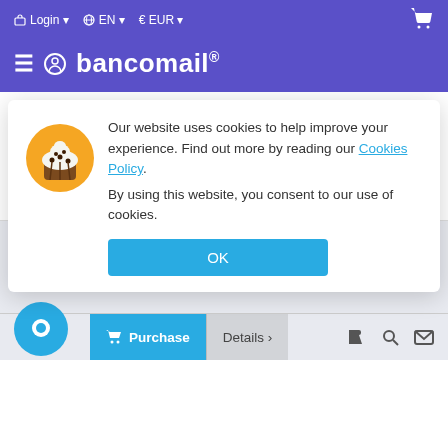Login  EN  EUR  [cart]
bancomail®
[Figure (screenshot): Product listing card: Heating - devices, Italy Marche, Records: 72, Last update: 20 Jul 2022, Price: €17.28 crossed out, €8.64, -50% badge]
Our website uses cookies to help improve your experience. Find out more by reading our Cookies Policy. By using this website, you consent to our use of cookies.
OK
Purchase  Details >  [tag icon] [search icon] [mail icon]